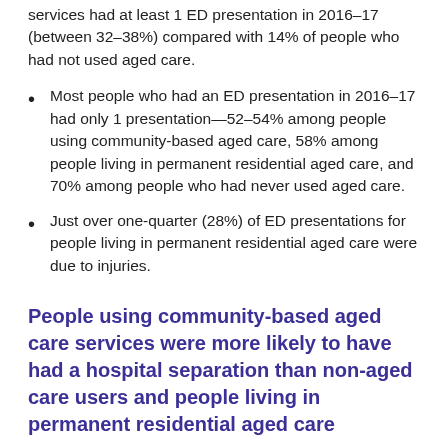services had at least 1 ED presentation in 2016–17 (between 32–38%) compared with 14% of people who had not used aged care.
Most people who had an ED presentation in 2016–17 had only 1 presentation—52–54% among people using community-based aged care, 58% among people living in permanent residential aged care, and 70% among people who had never used aged care.
Just over one-quarter (28%) of ED presentations for people living in permanent residential aged care were due to injuries.
People using community-based aged care services were more likely to have had a hospital separation than non-aged care users and people living in permanent residential aged care